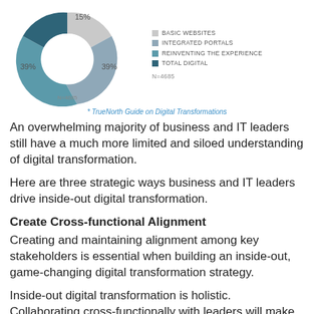[Figure (donut-chart): Digital Maturity Distribution]
* TrueNorth Guide on Digital Transformations
An overwhelming majority of business and IT leaders still have a much more limited and siloed understanding of digital transformation.
Here are three strategic ways business and IT leaders drive inside-out digital transformation.
Create Cross-functional Alignment
Creating and maintaining alignment among key stakeholders is essential when building an inside-out, game-changing digital transformation strategy.
Inside-out digital transformation is holistic. Collaborating cross-functionally with leaders will make your, and their, transformations successful.